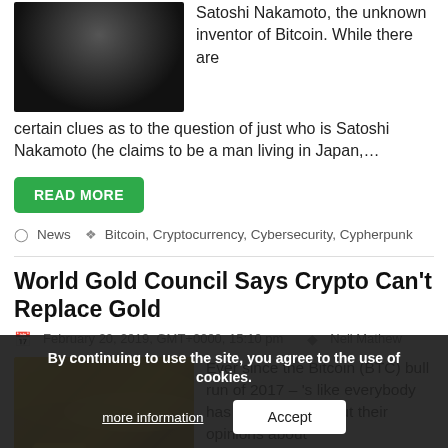[Figure (photo): Dark portrait photo (top portion), likely face of a person against black background]
Satoshi Nakamoto, the unknown inventor of Bitcoin. While there are certain clues as to the question of just who is Satoshi Nakamoto (he claims to be a man living in Japan,…
READ MORE
News  Bitcoin, Cryptocurrency, Cybersecurity, Cypherpunk
World Gold Council Says Crypto Can't Replace Gold
February 20, 2019, GMT+0000, 15:10 pm   Neil Mathew
[Figure (photo): Photo of gold bars and golden fabric background]
Ever since the Bitcoin (BTC) bull run of 2017 – 's like everybody has been vocal about their opinions about
By continuing to use the site, you agree to the use of cookies.
more information
Accept